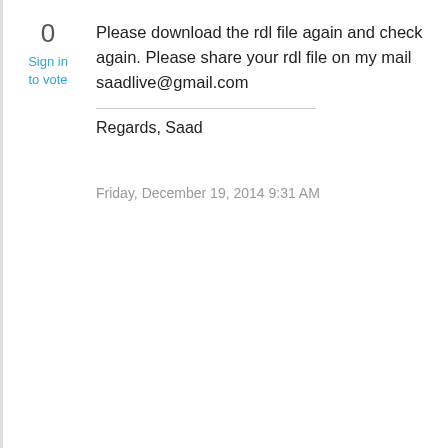0
Sign in
to vote
Please download the rdl file again and check again. Please share your rdl file on my mail saadlive@gmail.com
Regards, Saad
Friday, December 19, 2014 9:31 AM
[Figure (illustration): Blue square user/answer icon with white symbols]
1
Sign in
to vote